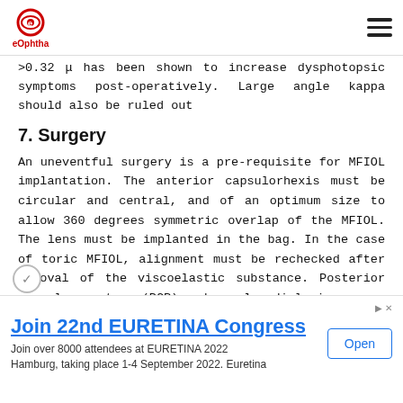eOphtha (logo and navigation)
>0.32 μ has been shown to increase dysphotopsic symptoms post-operatively. Large angle kappa should also be ruled out
7. Surgery
An uneventful surgery is a pre-requisite for MFIOL implantation. The anterior capsulorhexis must be circular and central, and of an optimum size to allow 360 degrees symmetric overlap of the MFIOL. The lens must be implanted in the bag. In the case of toric MFIOL, alignment must be rechecked after removal of the viscoelastic substance. Posterior capsular rupture (PCR) and zonular dialysis are
co contra indications for MFIOL implantation, hence a
Join 22nd EURETINA Congress
Join over 8000 attendees at EURETINA 2022
Hamburg, taking place 1-4 September 2022. Euretina